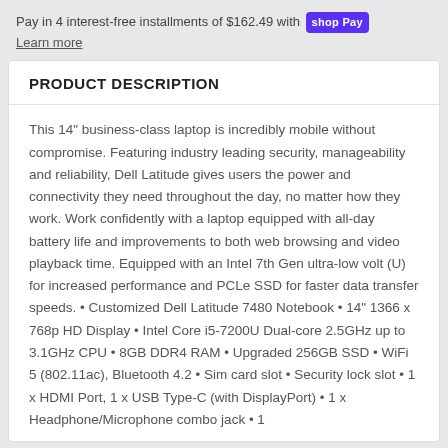Pay in 4 interest-free installments of $162.49 with shop Pay
Learn more
PRODUCT DESCRIPTION
This 14" business-class laptop is incredibly mobile without compromise. Featuring industry leading security, manageability and reliability, Dell Latitude gives users the power and connectivity they need throughout the day, no matter how they work. Work confidently with a laptop equipped with all-day battery life and improvements to both web browsing and video playback time. Equipped with an Intel 7th Gen ultra-low volt (U) for increased performance and PCLe SSD for faster data transfer speeds. • Customized Dell Latitude 7480 Notebook • 14" 1366 x 768p HD Display • Intel Core i5-7200U Dual-core 2.5GHz up to 3.1GHz CPU • 8GB DDR4 RAM • Upgraded 256GB SSD • WiFi 5 (802.11ac), Bluetooth 4.2 • Sim card slot • Security lock slot • 1 x HDMI Port, 1 x USB Type-C (with DisplayPort) • 1 x Headphone/Microphone combo jack • 1